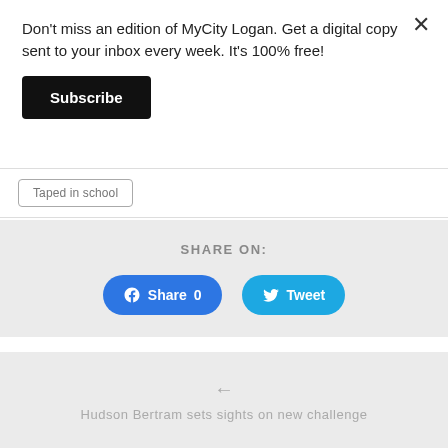Don't miss an edition of MyCity Logan. Get a digital copy sent to your inbox every week. It's 100% free!
Subscribe
Taped in school
SHARE ON:
Share 0
Tweet
Hudson Bertram sets sights on new challenge